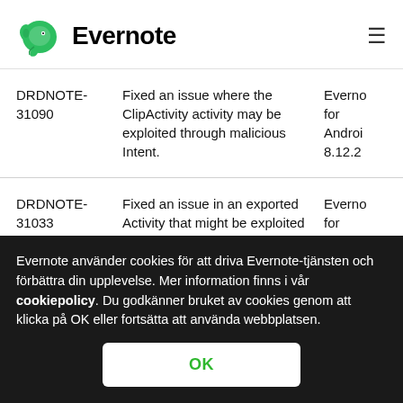Evernote
| ID | Description | Product |
| --- | --- | --- |
| DRDNOTE-31090 | Fixed an issue where the ClipActivity activity may be exploited through malicious Intent. | Evernote for Android 8.12.2 |
| DRDNOTE-31033 | Fixed an issue in an exported Activity that might be exploited through malicious Intent. | Evernote for Android |
Evernote använder cookies för att driva Evernote-tjänsten och förbättra din upplevelse. Mer information finns i vår cookiepolicy. Du godkänner bruket av cookies genom att klicka på OK eller fortsätta att använda webbplatsen.
OK